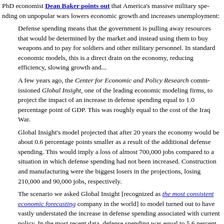PhD economist Dean Baker points out that America's massive military spending on unpopular wars lowers economic growth and increases unemployment:
Defense spending means that the government is pulling away resources that would be determined by the market and instead using them to buy weapons and to pay for soldiers and other military personnel. In standard economic models, this is a direct drain on the economy, reducing efficiency, slowing growth and...
A few years ago, the Center for Economic and Policy Research commissioned Global Insight, one of the leading economic modeling firms, to project the impact of an increase in defense spending equal to 1.0 percentage point of GDP. This was roughly equal to the cost of the Iraq War.
Global Insight's model projected that after 20 years the economy would be about 0.6 percentage points smaller as a result of the additional defense spending. This would imply a loss of almost 700,000 jobs compared to a situation in which spending had not been increased. Construction and manufacturing were the biggest losers in the projections, losing 210,000 and 90,000 jobs, respectively.
The scenario we asked Global Insight [recognized as the most consistent economic forecasting company in the world] to model turned out to have vastly understated the increase in defense spending associated with current policy. In the most recent data, defense spending was equal to 5.6 percent of GDP.
By comparison, before the September 11th attacks, the Congressional Budget Office projected that defense spending in 2009 would be equal to just 2.4 percent of GDP. The post-September 11th build-up was equal to 3.2 percentage points of GDP above the pre-attack baseline. This means that the Global Insight projections of the impact are very low...